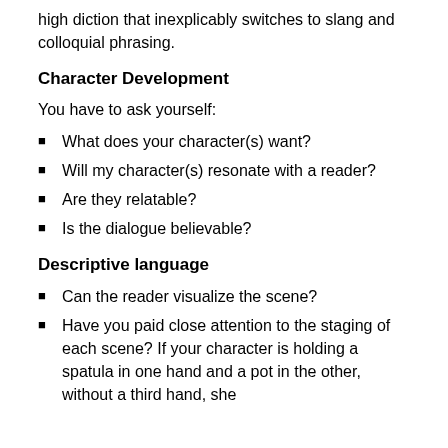high diction that inexplicably switches to slang and colloquial phrasing.
Character Development
You have to ask yourself:
What does your character(s) want?
Will my character(s) resonate with a reader?
Are they relatable?
Is the dialogue believable?
Descriptive language
Can the reader visualize the scene?
Have you paid close attention to the staging of each scene? If your character is holding a spatula in one hand and a pot in the other, without a third hand, she